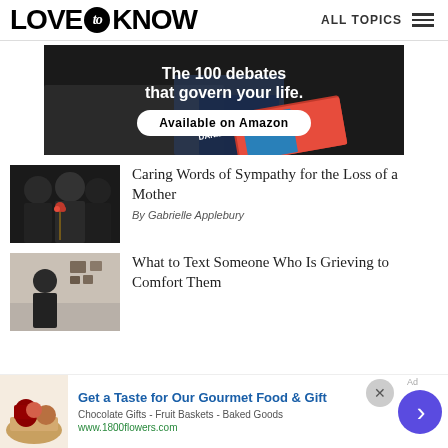LOVE to KNOW   ALL TOPICS
[Figure (photo): Dark advertisement banner with text 'The 100 debates that govern your life. Available on Amazon' with a book by Daniel Ravner]
[Figure (photo): Funeral scene with people in black suits holding red roses]
Caring Words of Sympathy for the Loss of a Mother
By Gabrielle Applebury
[Figure (photo): Indoor scene thumbnail for article about texting someone who is grieving]
What to Text Someone Who Is Grieving to Comfort Them
[Figure (photo): Advertisement: Get a Taste for Our Gourmet Food & Gift - 1800flowers.com with basket of food gifts]